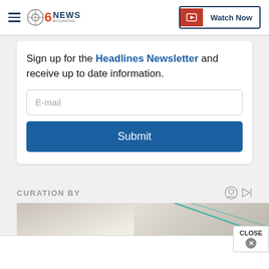CBS 6 NEWS RICHMOND — Watch Now
Sign up for the Headlines Newsletter and receive up to date information.
E-mail
Submit
CURATION BY
[Figure (screenshot): Two images side by side: left showing a white fabric/surface, right showing a beige/tan graphic with teal diagonal lines]
CLOSE